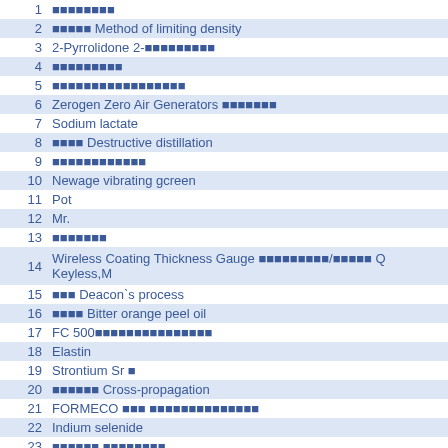| # | Entry |
| --- | --- |
| 1 | ▪▪▪▪▪▪▪▪ |
| 2 | ▪▪▪▪▪ Method of limiting density |
| 3 | 2-Pyrrolidone 2-▪▪▪▪▪▪▪▪▪ |
| 4 | ▪▪▪▪▪▪▪▪▪ |
| 5 | ▪▪▪▪▪▪▪▪▪▪▪▪▪▪▪▪▪ |
| 6 | Zerogen Zero Air Generators ▪▪▪▪▪▪▪ |
| 7 | Sodium lactate |
| 8 | ▪▪▪▪ Destructive distillation |
| 9 | ▪▪▪▪▪▪▪▪▪▪▪▪ |
| 10 | Newage vibrating gcreen |
| 11 | Pot |
| 12 | Mr. |
| 13 | ▪▪▪▪▪▪▪ |
| 14 | Wireless Coating Thickness Gauge ▪▪▪▪▪▪▪▪▪/▪▪▪▪▪ Q Keyless,M |
| 15 | ▪▪▪ Deacon`s process |
| 16 | ▪▪▪▪ Bitter orange peel oil |
| 17 | FC 500▪▪▪▪▪▪▪▪▪▪▪▪▪▪▪ |
| 18 | Elastin |
| 19 | Strontium Sr ▪ |
| 20 | ▪▪▪▪▪▪ Cross-propagation |
| 21 | FORMECO ▪▪▪ ▪▪▪▪▪▪▪▪▪▪▪▪▪▪ |
| 22 | Indium selenide |
| 23 | ▪▪▪▪▪▪ ▪▪▪▪▪▪▪▪ |
| 24 | ▪▪▪▪▪▪▪▪▪▪▪▪ Shavers▪Baguettes▪ |
| 25 | ▪▪▪ Cocoa nut cake |